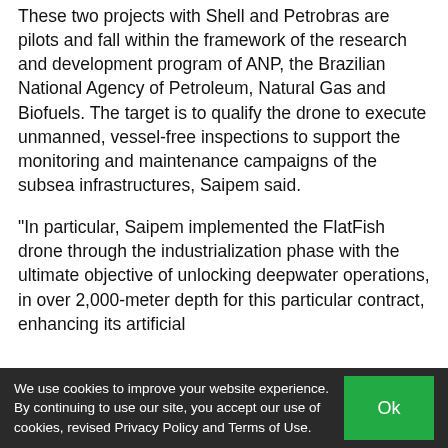These two projects with Shell and Petrobras are pilots and fall within the framework of the research and development program of ANP, the Brazilian National Agency of Petroleum, Natural Gas and Biofuels. The target is to qualify the drone to execute unmanned, vessel-free inspections to support the monitoring and maintenance campaigns of the subsea infrastructures, Saipem said.
"In particular, Saipem implemented the FlatFish drone through the industrialization phase with the ultimate objective of unlocking deepwater operations, in over 2,000-meter depth for this particular contract, enhancing its artificial
We use cookies to improve your website experience. By continuing to use our site, you accept our use of cookies, revised Privacy Policy and Terms of Use.